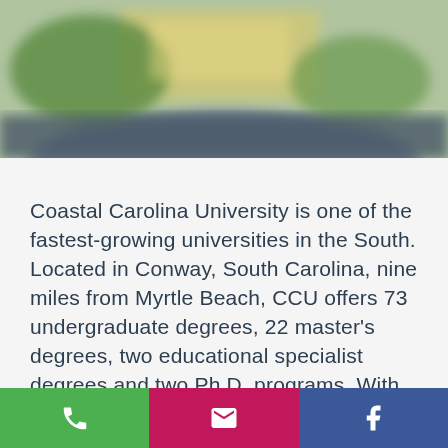[Figure (photo): Blurred aerial/campus photo of Coastal Carolina University with green and golden hues, serving as a banner image at the top of the page]
Coastal Carolina University is one of the fastest-growing universities in the South. Located in Conway, South Carolina, nine miles from Myrtle Beach, CCU offers 73 undergraduate degrees, 22 master's degrees, two educational specialist degrees and two Ph.D. programs. With enrollment of approximately 10,600 and a walkable campus, students at CCU enjoy small classes, an engaged faculty, and outstanding research and
[Figure (infographic): Bottom navigation bar with three colored buttons: green phone icon, magenta/pink email icon, and blue Facebook icon]